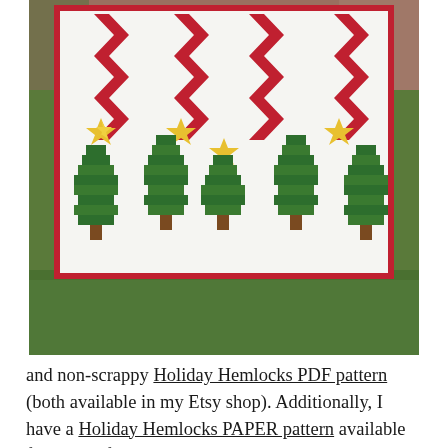[Figure (photo): A Christmas/holiday quilt hanging outdoors against a brick wall, displayed on a lawn. The quilt features five green pixel-art style Christmas trees with brown trunks, yellow eight-pointed stars atop each tree, and red zigzag/chevron ribbon decorations at the top. The quilt background is white with a red border.]
and non-scrappy Holiday Hemlocks PDF pattern (both available in my Etsy shop). Additionally, I have a Holiday Hemlocks PAPER pattern available for those of you who